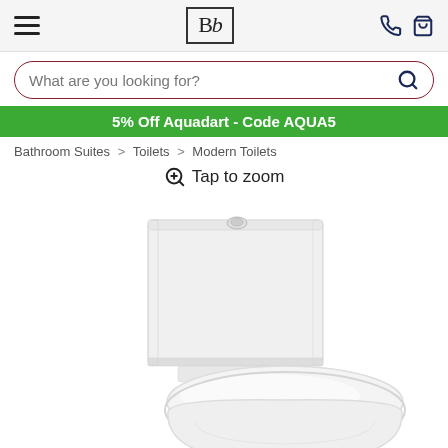Bb logo, hamburger menu, phone and basket icons
What are you looking for?
5% Off Aquadart - Code AQUA5
Bathroom Suites > Toilets > Modern Toilets
Tap to zoom
[Figure (photo): White ceramic close-coupled toilet with cistern and seat, photographed from a side-front angle on a white background.]